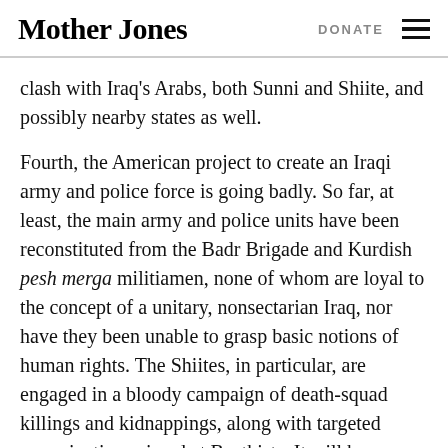Mother Jones | DONATE
clash with Iraq's Arabs, both Sunni and Shiite, and possibly nearby states as well.
Fourth, the American project to create an Iraqi army and police force is going badly. So far, at least, the main army and police units have been reconstituted from the Badr Brigade and Kurdish pesh merga militiamen, none of whom are loyal to the concept of a unitary, nonsectarian Iraq, nor have they been unable to grasp basic notions of human rights. The Shiites, in particular, are engaged in a bloody campaign of death-squad killings and kidnappings, along with targeted assassinations aimed at Baathists. It will be difficult, if not impossible, for